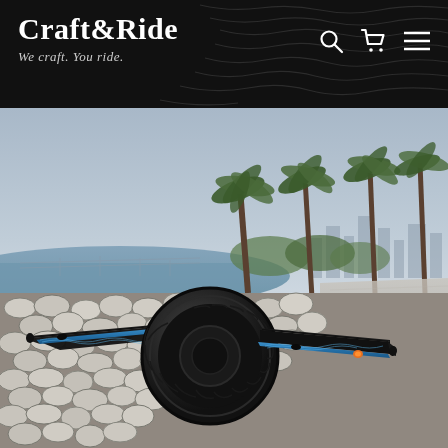Craft&Ride — We craft. You ride.
[Figure (photo): A onewheel electric skateboard with blue wave-patterned rail guards, resting on a cobblestone surface near the waterfront in Miami. Palm trees, a bridge, and city skyline visible in the background under an overcast sky.]